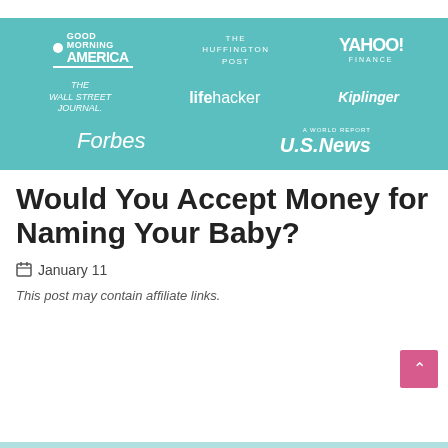[Figure (logo): Media logos banner on teal/turquoise background: Good Morning America, The Huffington Post, Yahoo Finance, The Wall Street Journal, Lifehacker, Kiplinger, Forbes, U.S. News & World Report]
Would You Accept Money for Naming Your Baby?
January 11
This post may contain affiliate links.